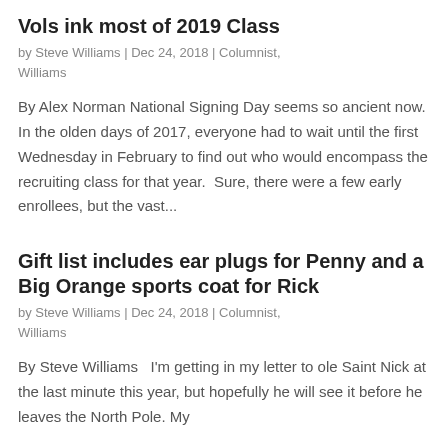Vols ink most of 2019 Class
by Steve Williams | Dec 24, 2018 | Columnist, Williams
By Alex Norman National Signing Day seems so ancient now. In the olden days of 2017, everyone had to wait until the first Wednesday in February to find out who would encompass the recruiting class for that year.  Sure, there were a few early enrollees, but the vast...
Gift list includes ear plugs for Penny and a Big Orange sports coat for Rick
by Steve Williams | Dec 24, 2018 | Columnist, Williams
By Steve Williams   I'm getting in my letter to ole Saint Nick at the last minute this year, but hopefully he will see it before he leaves the North Pole. My